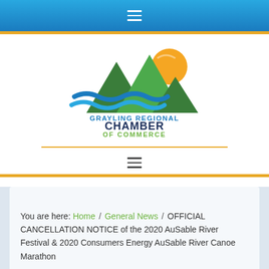[Figure (logo): Grayling Regional Chamber of Commerce logo with mountains, river waves, and sun graphic]
You are here: Home / General News / OFFICIAL CANCELLATION NOTICE of the 2020 AuSable River Festival & 2020 Consumers Energy AuSable River Canoe Marathon